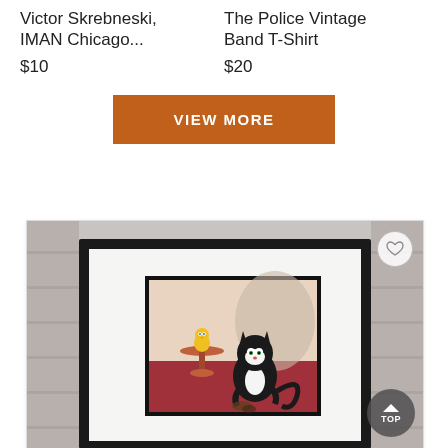Victor Skrebneski, IMAN Chicago...
$10
The Police Vintage Band T-Shirt
$20
VIEW MORE
[Figure (photo): A framed Looney Tunes animation cel showing Tweety Bird on a table and Sylvester the Cat, displayed against a brick wall background. A circular heart/favorite button is visible in the top right corner, and a 'TOP' scroll button in the bottom right.]